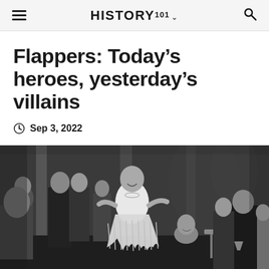HISTORY101
Flappers: Today’s heroes, yesterday’s villains
Sep 3, 2022
[Figure (photo): Black and white vintage photograph of a woman in a flapper dress dancing at a party, surrounded by onlookers in formal attire]